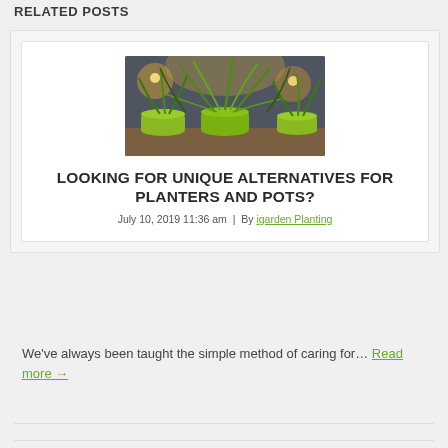RELATED POSTS
[Figure (photo): Potted green plants including spider plants in lime green pots arranged outdoors against a wall with warm lighting]
LOOKING FOR UNIQUE ALTERNATIVES FOR PLANTERS AND POTS?
July 10, 2019 11:36 am | By igarden Planting
We've always been taught the simple method of caring for… Read more →